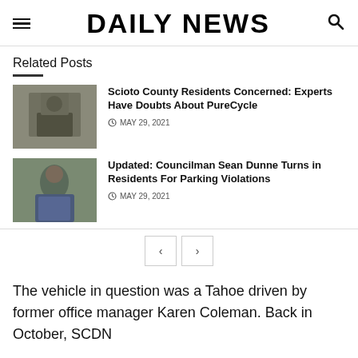DAILY NEWS
Related Posts
Scioto County Residents Concerned: Experts Have Doubts About PureCycle
MAY 29, 2021
Updated: Councilman Sean Dunne Turns in Residents For Parking Violations
MAY 29, 2021
The vehicle in question was a Tahoe driven by former office manager Karen Coleman. Back in October, SCDN